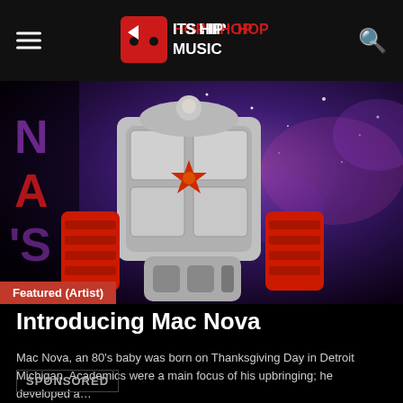ITS HIP HOP MUSIC
[Figure (illustration): Animated robot/mech warrior character in grey armor with red accents and star emblem, set against a purple and blue galaxy background. Partial text 'NA'S A' visible on left side in purple/red vertical text.]
Featured (Artist)
Introducing Mac Nova
Mac Nova, an 80's baby was born on Thanksgiving Day in Detroit Michigan. Academics were a main focus of his upbringing; he developed a…
SPONSORED